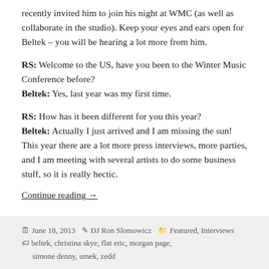recently invited him to join his night at WMC (as well as collaborate in the studio). Keep your eyes and ears open for Beltek – you will be hearing a lot more from him.
RS: Welcome to the US, have you been to the Winter Music Conference before?
Beltek: Yes, last year was my first time.
RS: How has it been different for you this year?
Beltek: Actually I just arrived and I am missing the sun! This year there are a lot more press interviews, more parties, and I am meeting with several artists to do some business stuff, so it is really hectic.
Continue reading →
June 18, 2013 · DJ Ron Slomowicz · Featured, Interviews · beltek, christina skye, flat eric, morgan page, simone denny, umek, zedd